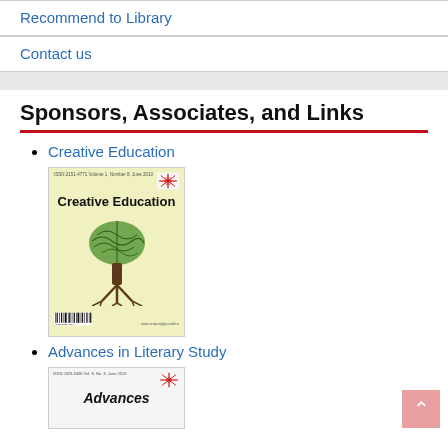Recommend to Library
Contact us
Sponsors, Associates, and Links
Creative Education
[Figure (photo): Book cover of Creative Education journal showing a brain-tree illustration on a yellow-green background]
Advances in Literary Study
[Figure (photo): Partial book cover of Advances in Literary Study journal]